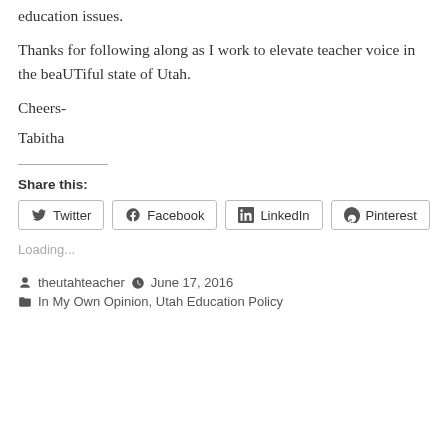education issues.
Thanks for following along as I work to elevate teacher voice in the beaUTiful state of Utah.
Cheers-
Tabitha
Share this:
Twitter  Facebook  LinkedIn  Pinterest
Loading...
theutahteacher   June 17, 2016
In My Own Opinion, Utah Education Policy